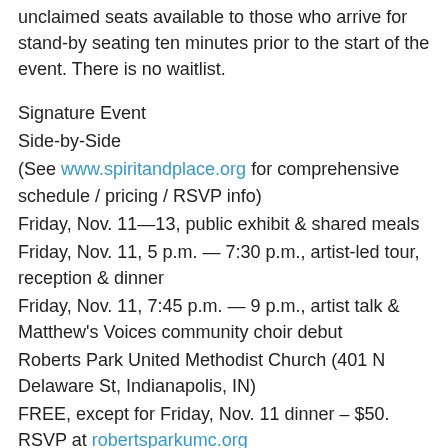unclaimed seats available to those who arrive for stand-by seating ten minutes prior to the start of the event. There is no waitlist.
Signature Event
Side-by-Side
(See www.spiritandplace.org for comprehensive schedule / pricing / RSVP info)
Friday, Nov. 11—13, public exhibit & shared meals
Friday, Nov. 11, 5 p.m. — 7:30 p.m., artist-led tour, reception & dinner
Friday, Nov. 11, 7:45 p.m. — 9 p.m., artist talk & Matthew's Voices community choir debut
Roberts Park United Methodist Church (401 N Delaware St, Indianapolis, IN)
FREE, except for Friday, Nov. 11 dinner – $50. RSVP at robertsparkumc.org